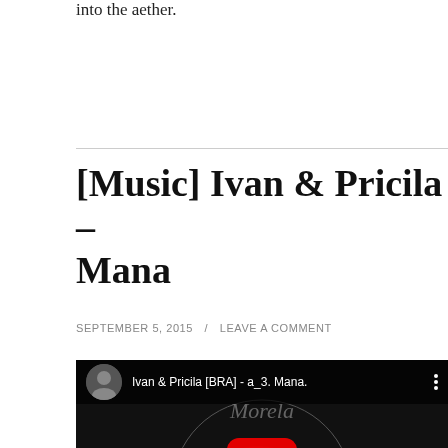into the aether.
[Music] Ivan & Pricila – Mana
SEPTEMBER 5, 2015 / LEAVE A COMMENT
[Figure (screenshot): Embedded YouTube video player showing 'Ivan & Pricila [BRA] - a_3. Mana.' with a black and white album art featuring plants and two figures, with a red YouTube play button in the center.]